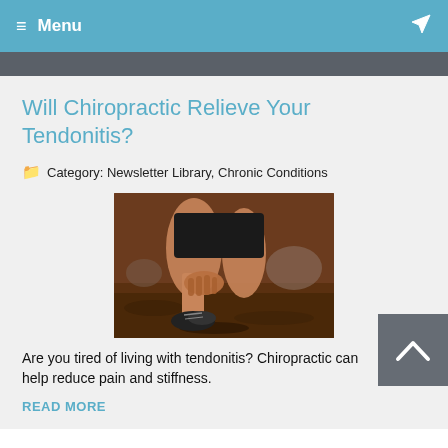≡ Menu
Will Chiropractic Relieve Your Tendonitis?
Category: Newsletter Library, Chronic Conditions
[Figure (photo): Person crouching down and gripping their ankle/foot, appearing to be in pain from tendonitis, outdoors on a dirt surface wearing athletic shoes and dark shorts]
Are you tired of living with tendonitis? Chiropractic can help reduce pain and stiffness.
READ MORE